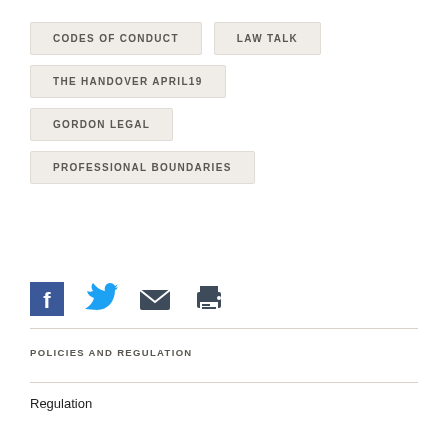CODES OF CONDUCT
LAW TALK
THE HANDOVER APRIL19
GORDON LEGAL
PROFESSIONAL BOUNDARIES
[Figure (infographic): Social sharing icons: Facebook, Twitter, Email, Print]
POLICIES AND REGULATION
Regulation